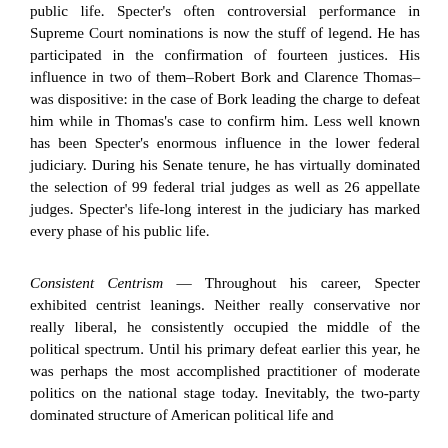public life. Specter's often controversial performance in Supreme Court nominations is now the stuff of legend. He has participated in the confirmation of fourteen justices. His influence in two of them–Robert Bork and Clarence Thomas–was dispositive: in the case of Bork leading the charge to defeat him while in Thomas's case to confirm him. Less well known has been Specter's enormous influence in the lower federal judiciary. During his Senate tenure, he has virtually dominated the selection of 99 federal trial judges as well as 26 appellate judges. Specter's life-long interest in the judiciary has marked every phase of his public life.
Consistent Centrism — Throughout his career, Specter exhibited centrist leanings. Neither really conservative nor really liberal, he consistently occupied the middle of the political spectrum. Until his primary defeat earlier this year, he was perhaps the most accomplished practitioner of moderate politics on the national stage today. Inevitably, the two-party dominated structure of American political life and...